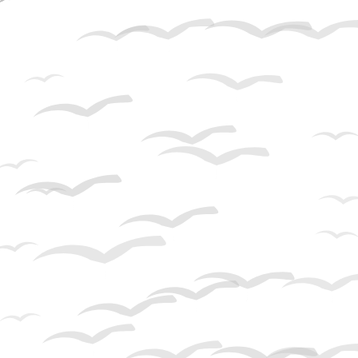[Figure (illustration): Repeating pattern of small light gray flying bird silhouettes scattered across a white background in a staggered grid arrangement, varying slightly in size and orientation.]